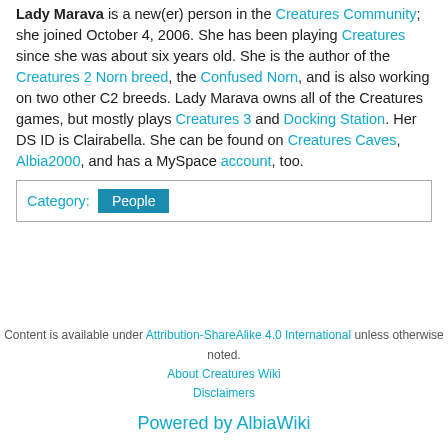Lady Marava is a new(er) person in the Creatures Community; she joined October 4, 2006. She has been playing Creatures since she was about six years old. She is the author of the Creatures 2 Norn breed, the Confused Norn, and is also working on two other C2 breeds. Lady Marava owns all of the Creatures games, but mostly plays Creatures 3 and Docking Station. Her DS ID is Clairabella. She can be found on Creatures Caves, Albia2000, and has a MySpace account, too.
| Category |
| --- |
| People |
Content is available under Attribution-ShareAlike 4.0 International unless otherwise noted. About Creatures Wiki Disclaimers Powered by AlbiaWiki